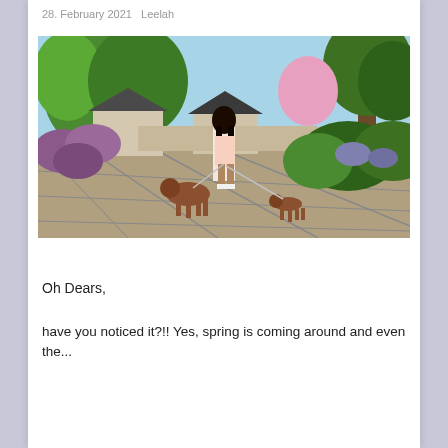28. February 2021   Leelah
[Figure (screenshot): Virtual world / Second Life scene showing a female avatar with long dark hair wearing a floral dress, walking two dogs along a stone-paved path surrounded by lush garden greenery, flowering bushes, and elegant houses with dark roofs in the background.]
Oh Dears,
have you noticed it?!! Yes, spring is coming around and even the...